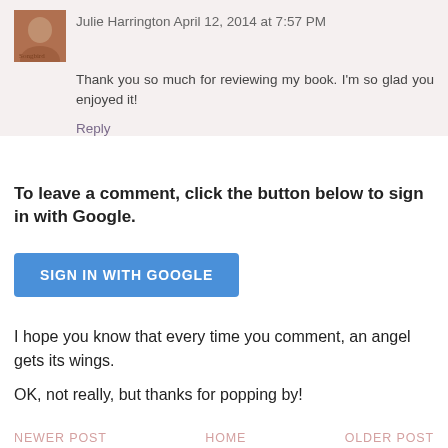Julie Harrington April 12, 2014 at 7:57 PM
Thank you so much for reviewing my book. I'm so glad you enjoyed it!
Reply
To leave a comment, click the button below to sign in with Google.
[Figure (other): SIGN IN WITH GOOGLE button (blue rounded rectangle)]
I hope you know that every time you comment, an angel gets its wings.
OK, not really, but thanks for popping by!
NEWER POST    HOME    OLDER POST
Subscribe to: Post Comments (Atom)